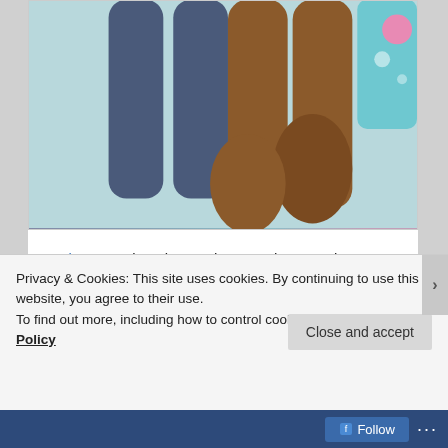[Figure (illustration): Cropped illustration from the book Hair Love showing cartoon figures of people's lower bodies, with dark skin tones, wearing jeans and colorful clothing against a light teal and pink background.]
Hair Love written by Matthew A. Cherry and illustrated by Vashti Harrison, a picture book for ages 4-8
Really more about hair and feeling proud of yours, this story is also a lovely depiction of a father-daughter bond that works for Father's Day. The little girl's hair needs her Dad to style her hair for a special event, and he does save the day through his efforts.
Privacy & Cookies: This site uses cookies. By continuing to use this website, you agree to their use.
To find out more, including how to control cookies, see here: Cookie Policy
Close and accept